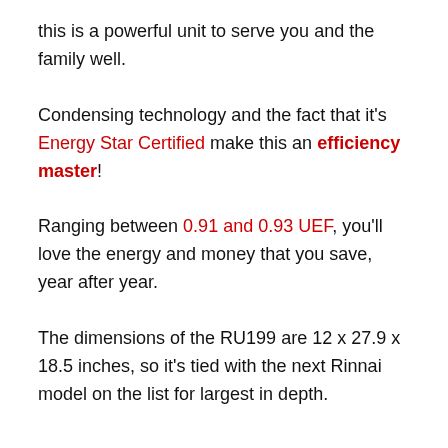this is a powerful unit to serve you and the family well.
Condensing technology and the fact that it's Energy Star Certified make this an efficiency master!
Ranging between 0.91 and 0.93 UEF, you'll love the energy and money that you save, year after year.
The dimensions of the RU199 are 12 x 27.9 x 18.5 inches, so it's tied with the next Rinnai model on the list for largest in depth.